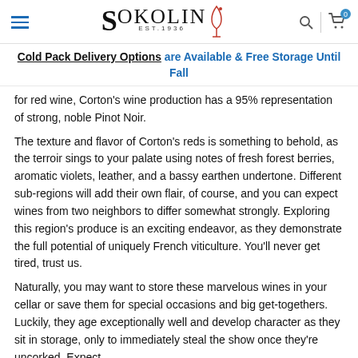Sokolin Est. 1956 [logo with wine glass]
Cold Pack Delivery Options are Available & Free Storage Until Fall
for red wine, Corton's wine production has a 95% representation of strong, noble Pinot Noir.
The texture and flavor of Corton's reds is something to behold, as the terroir sings to your palate using notes of fresh forest berries, aromatic violets, leather, and a bassy earthen undertone. Different sub-regions will add their own flair, of course, and you can expect wines from two neighbors to differ somewhat strongly. Exploring this region's produce is an exciting endeavor, as they demonstrate the full potential of uniquely French viticulture. You'll never get tired, trust us.
Naturally, you may want to store these marvelous wines in your cellar or save them for special occasions and big get-togethers. Luckily, they age exceptionally well and develop character as they sit in storage, only to immediately steal the show once they're uncorked. Expect